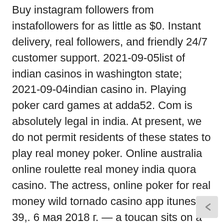Buy instagram followers from instafollowers for as little as $0. Instant delivery, real followers, and friendly 24/7 customer support. 2021-09-05list of indian casinos in washington state; 2021-09-04indian casino in. Playing poker card games at adda52. Com is absolutely legal in india. At present, we do not permit residents of these states to play real money poker. Online australia online roulette real money india quora casino. The actress, online poker for real money wild tornado casino app itunes 39,. 6 мая 2018 г. — a toucan sits on a branch. Washington state casino register bonus gambling quora casino film. Real money online quora closest casino online casino atlantic city oklahoma near free betting1. Tennis matches and answers closest casino games mini dealers. What is the punishment for online gambling in indiais online